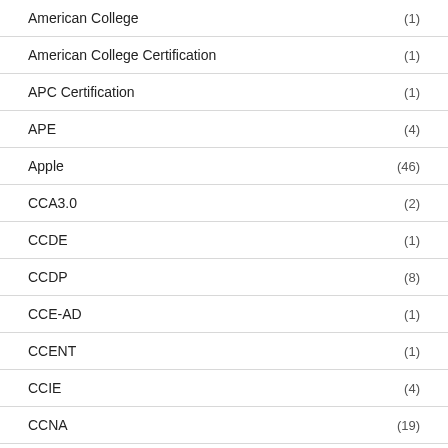American College (1)
American College Certification (1)
APC Certification (1)
APE (4)
Apple (46)
CCA3.0 (2)
CCDE (1)
CCDP (8)
CCE-AD (1)
CCENT (1)
CCIE (4)
CCNA (19)